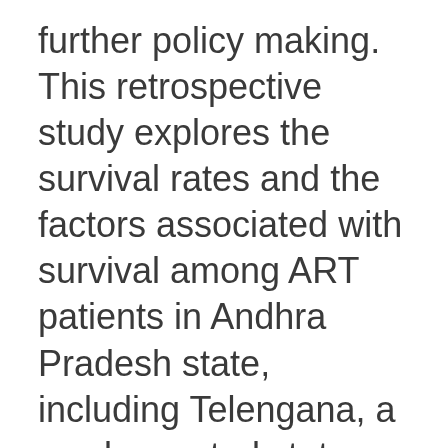further policy making. This retrospective study explores the survival rates and the factors associated with survival among ART patients in Andhra Pradesh state, including Telengana, a newly created state (separated from Andhra Pradesh), one of the six high-prevalence states of India using the most recent available HIV surveillance